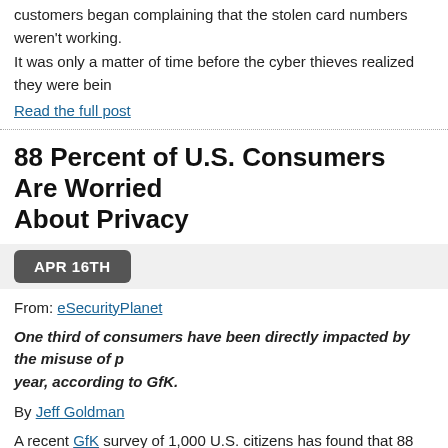customers began complaining that the stolen card numbers weren't working.
It was only a matter of time before the cyber thieves realized they were bein
Read the full post
88 Percent of U.S. Consumers Are Worried About Privacy
APR 16TH
From: eSecurityPlanet
One third of consumers have been directly impacted by the misuse of personal data within the past year, according to GfK.
By Jeff Goldman
A recent GfK survey of 1,000 U.S. citizens has found that 88 percent of respondents are concerned about the privacy of their personal data (h/t Computerworld).
The poll, conducted from March 7 to 9, 2014, also found that one third of consumers have been impacted by the misuse of personal data within the past year.
Read the full post